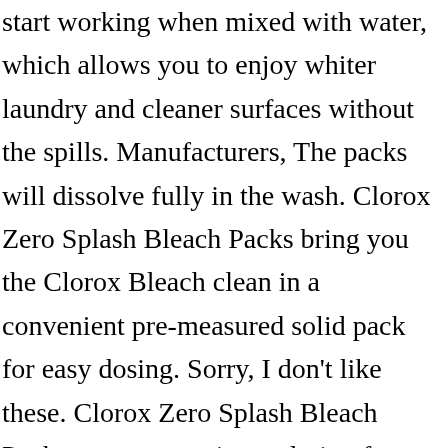start working when mixed with water, which allows you to enjoy whiter laundry and cleaner surfaces without the spills. Manufacturers, The packs will dissolve fully in the wash. Clorox Zero Splash Bleach Packs bring you the Clorox Bleach clean in a convenient pre-measured solid pack for easy dosing. Sorry, I don't like these. Clorox Zero Splash Bleach Packs are a convenient solution for cleaning fabrics, toilets, sinks and hard, nonporous surfaces. Clorox Zero Splash Bleach Packs - 12ct. To ensure we are able to help you as best we can,